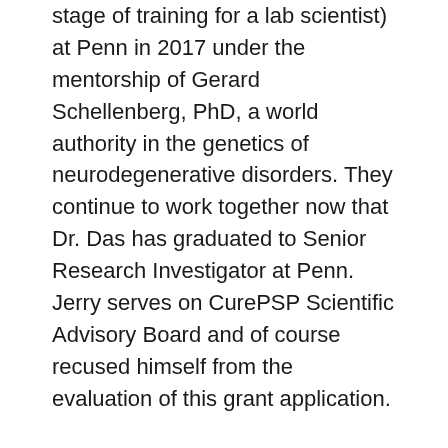stage of training for a lab scientist) at Penn in 2017 under the mentorship of Gerard Schellenberg, PhD, a world authority in the genetics of neurodegenerative disorders. They continue to work together now that Dr. Das has graduated to Senior Research Investigator at Penn.  Jerry serves on CurePSP Scientific Advisory Board and of course recused himself from the evaluation of this grant application.
Back to science: To create these tiny, targeted changes in the DNA at the rs242557 site, Dr. Das and colleagues will use the new gene-editing technique called CRISPR-Cas9. Just a month ago, the two scientists most prominent in the development of that technique, Jennifer Doudna and Emmanuelle Charpentier, received the Nobel Prize for that work, which appeared in 2012 and has been called one of the most important advances in biological science in